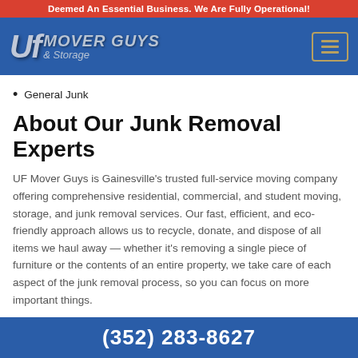Deemed An Essential Business. We Are Fully Operational!
[Figure (logo): UF Mover Guys & Storage logo with hamburger menu button on blue navigation bar]
General Junk
About Our Junk Removal Experts
UF Mover Guys is Gainesville's trusted full-service moving company offering comprehensive residential, commercial, and student moving, storage, and junk removal services. Our fast, efficient, and eco-friendly approach allows us to recycle, donate, and dispose of all items we haul away — whether it's removing a single piece of furniture or the contents of an entire property, we take care of each aspect of the junk removal process, so you can focus on more important things.
(352) 283-8627